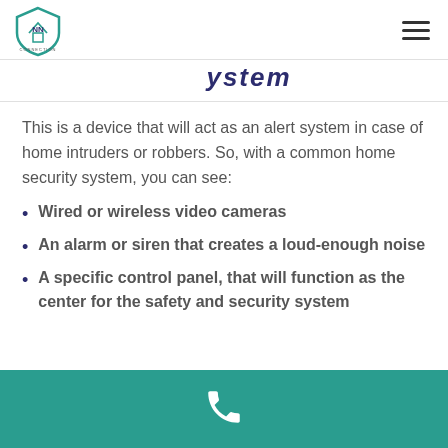NN Connection logo and hamburger menu
ystem
This is a device that will act as an alert system in case of home intruders or robbers. So, with a common home security system, you can see:
Wired or wireless video cameras
An alarm or siren that creates a loud-enough noise
A specific control panel, that will function as the center for the safety and security system
Phone contact footer bar